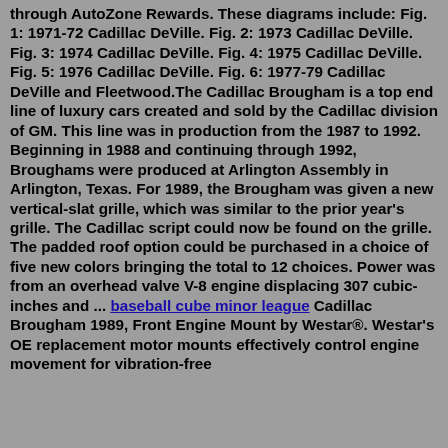through AutoZone Rewards. These diagrams include: Fig. 1: 1971-72 Cadillac DeVille. Fig. 2: 1973 Cadillac DeVille. Fig. 3: 1974 Cadillac DeVille. Fig. 4: 1975 Cadillac DeVille. Fig. 5: 1976 Cadillac DeVille. Fig. 6: 1977-79 Cadillac DeVille and Fleetwood.The Cadillac Brougham is a top end line of luxury cars created and sold by the Cadillac division of GM. This line was in production from the 1987 to 1992. Beginning in 1988 and continuing through 1992, Broughams were produced at Arlington Assembly in Arlington, Texas. For 1989, the Brougham was given a new vertical-slat grille, which was similar to the prior year's grille. The Cadillac script could now be found on the grille. The padded roof option could be purchased in a choice of five new colors bringing the total to 12 choices. Power was from an overhead valve V-8 engine displacing 307 cubic-inches and ... baseball cube minor league Cadillac Brougham 1989, Front Engine Mount by Westar®. Westar's OE replacement motor mounts effectively control engine movement for vibration-free driving. Since 1995, they have been supplying the ...